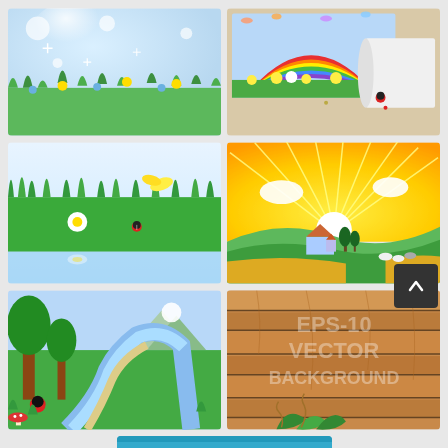[Figure (illustration): Spring meadow with bokeh sunlight, yellow and blue wildflowers, green grass]
[Figure (illustration): Torn paper revealing rainbow, flowers, butterflies on beige background]
[Figure (illustration): Green grass with daisy, ladybug, yellow butterfly, water reflection]
[Figure (illustration): Sunny countryside farm scene with sunbeams, house, cows, rolling hills]
[Figure (illustration): Cartoon forest path with river winding through green landscape and mountains]
[Figure (illustration): Wooden planks background with text EPS-10 VECTOR BACKGROUND and green leaves]
[Figure (illustration): Partial view of blue background card with BACKGROUND text label]